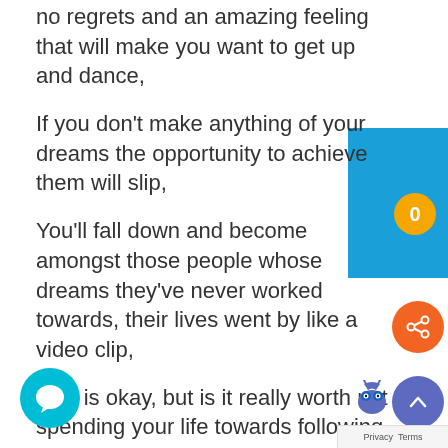no regrets and an amazing feeling that will make you want to get up and dance,
If you don't make anything of your dreams the opportunity to achieve them will slip,
You'll fall down and become amongst those people whose dreams they've never worked towards, their lives went by like a video clip,
This is okay, but is it really worth not spending your life towards following your dream?
So write it down, take the small steps towards it, will boost your self-esteem,
Put the vision of your dreams in front of you every day and don't let them hide,